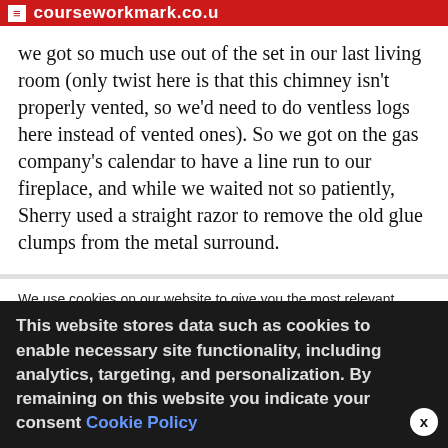courseworkmark.co.uk
we got so much use out of the set in our last living room (only twist here is that this chimney isn't properly vented, so we'd need to do ventless logs here instead of vented ones). So we got on the gas company's calendar to have a line run to our fireplace, and while we waited not so patiently, Sherry used a straight razor to remove the old glue clumps from the metal surround.
We use cookies on our website to give you the most relevant experience by remembering your preferences and repeat visits. By clicking "Accept All", you consent to the use of ALL the cookies. However, you may visit "Cookie Settings" to provide a controlled consent.
This website stores data such as cookies to enable necessary site functionality, including analytics, targeting, and personalization. By remaining on this website you indicate your consent Cookie Policy